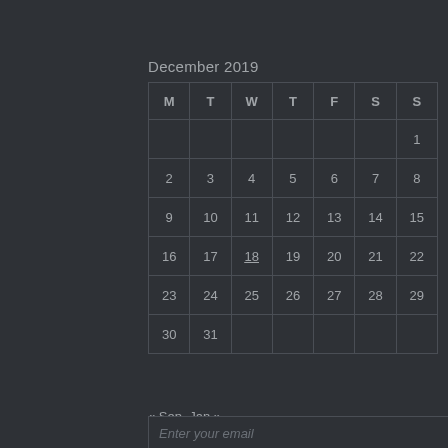December 2019
| M | T | W | T | F | S | S |
| --- | --- | --- | --- | --- | --- | --- |
|  |  |  |  |  |  | 1 |
| 2 | 3 | 4 | 5 | 6 | 7 | 8 |
| 9 | 10 | 11 | 12 | 13 | 14 | 15 |
| 16 | 17 | 18 | 19 | 20 | 21 | 22 |
| 23 | 24 | 25 | 26 | 27 | 28 | 29 |
| 30 | 31 |  |  |  |  |  |
« Sep   Jan »
Enter your email